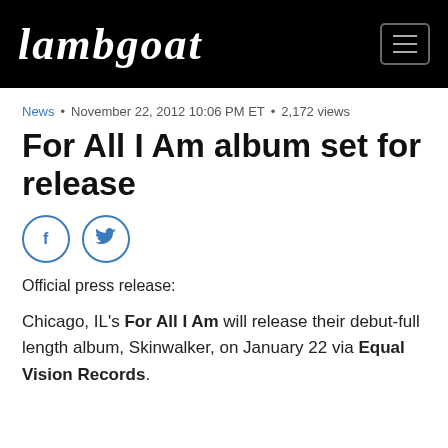Lambgoat
News • November 22, 2012 10:06 PM ET • 2,172 views
For All I Am album set for release
[Figure (other): Social sharing icons: Facebook and Twitter circular buttons]
Official press release:
Chicago, IL's For All I Am will release their debut-full length album, Skinwalker, on January 22 via Equal Vision Records.